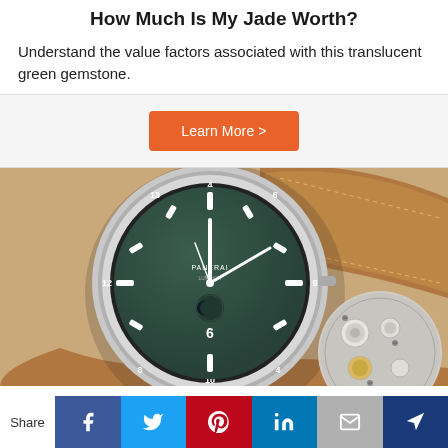How Much Is My Jade Worth?
Understand the value factors associated with this translucent green gemstone.
Learn More >
[Figure (photo): A luxury Panerai wristwatch with a dark green dial, silver bezel with numbers, and tan leather strap, alongside a partial view of the watch movement mechanism.]
Share